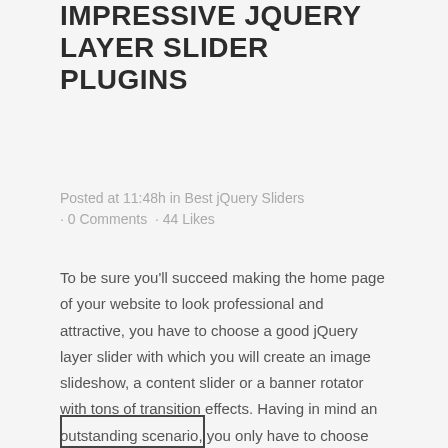IMPRESSIVE JQUERY LAYER SLIDER PLUGINS
Posted at 11:48h in Best jQuery Sliders · 0 Comments · 44 Likes
To be sure you'll succeed making the home page of your website to look professional and attractive, you have to choose a good jQuery layer slider with which you will create an image slideshow, a content slider or a banner rotator with tons of transition effects. Having in mind an outstanding scenario, you only have to choose the right tool to turn it into reality....